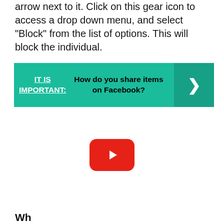arrow next to it. Click on this gear icon to access a drop down menu, and select “Block” from the list of options. This will block the individual.
[Figure (infographic): Green banner with text: IT IS IMPORTANT: How do you share items on Facebook? with a right-pointing arrow chevron on the right side]
[Figure (other): YouTube play button icon (red rounded rectangle with white triangle play arrow)]
Wh...